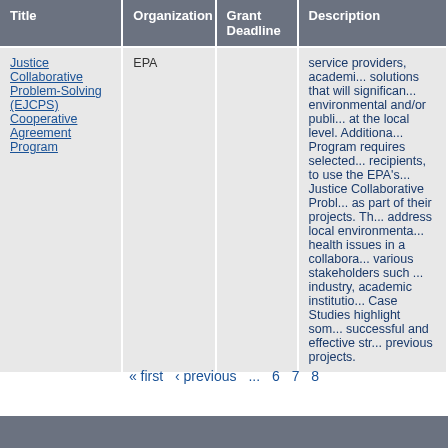| Title | Organization | Grant Deadline | Description |
| --- | --- | --- | --- |
| Justice Collaborative Problem-Solving (EJCPS) Cooperative Agreement Program | EPA |  | service providers, academic... solutions that will significantly... environmental and/or public... at the local level. Additionally... Program requires selected... recipients, to use the EPA's... Justice Collaborative Problem... as part of their projects. Th... address local environmental... health issues in a collabora... various stakeholders such ... industry, academic institutio... Case Studies highlight some... successful and effective str... previous projects. |
« first ‹ previous ... 6 7 8